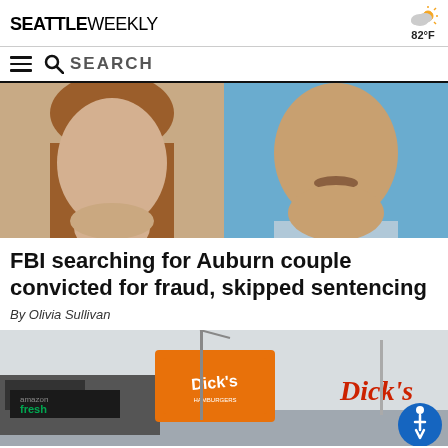SEATTLE WEEKLY
82°F
SEARCH
[Figure (photo): Mugshot photos of a woman with red/brown hair on the left and a man with a mustache wearing a light blue shirt on the right, both cropped from chin downward only]
FBI searching for Auburn couple convicted for fraud, skipped sentencing
By Olivia Sullivan
[Figure (photo): Street-level photo showing Dick's Drive-In hamburger restaurant signs in orange and red retro style, with an Amazon Fresh store in the background on the left, taken on an overcast day]